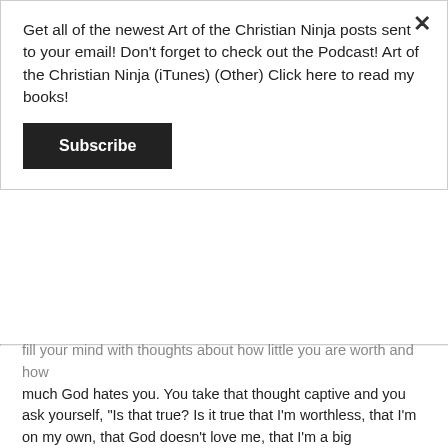Get all of the newest Art of the Christian Ninja posts sent to your email! Don't forget to check out the Podcast! Art of the Christian Ninja (iTunes) (Other) Click here to read my books!
[Figure (other): Dark rectangular Subscribe button with white bold text]
fill your mind with thoughts about how little you are worth and how much God hates you. You take that thought captive and you ask yourself, "Is that true? Is it true that I'm worthless, that I'm on my own, that God doesn't love me, that I'm a big disappointment, that I'm alone? Is that true?"
"No!", you must answer yourself, "I didn't choose this life, God chose me for it. God's love for me isn't based on how good I am, but on how good He is. God raised me from the dead! He didn't have to but chose to do that for me! I don't know what made me special in His eyes, but somehow I am. I'm a called person. I'm a child of God because God wanted to adopt me. Out of all the billions of people who have existed on this earth, God reached down and picked me to be one of His own. I did NOTHING to deserve it, in fact I was His enemy, but He called me. He yelled into my tomb and brought me back to life because He loves me so much! So shut up, Satan. I don't believe you."